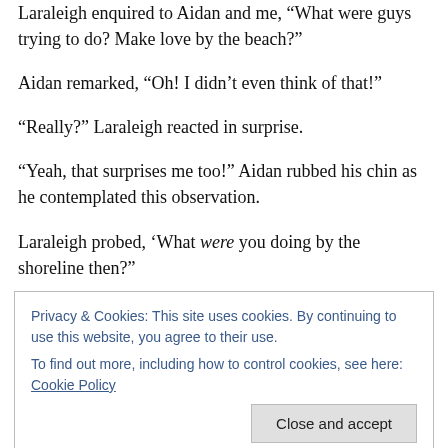Laraleigh enquired to Aidan and me, "What were guys trying to do? Make love by the beach?"
Aidan remarked, “Oh! I didn’t even think of that!”
“Really?” Laraleigh reacted in surprise.
“Yeah, that surprises me too!” Aidan rubbed his chin as he contemplated this observation.
Laraleigh probed, ‘What were you doing by the shoreline then?”
Privacy & Cookies: This site uses cookies. By continuing to use this website, you agree to their use.
To find out more, including how to control cookies, see here: Cookie Policy
but I also was fairly certain that Wade was in our